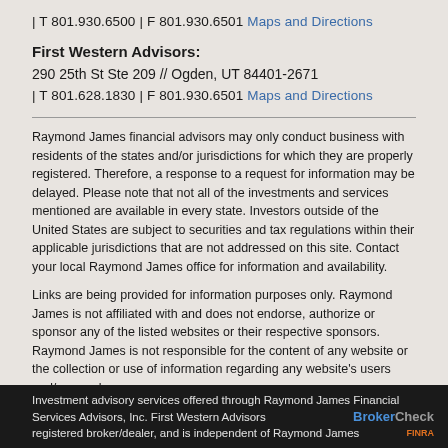| T 801.930.6500 | F 801.930.6501 Maps and Directions
First Western Advisors:
290 25th St Ste 209 // Ogden, UT 84401-2671
| T 801.628.1830 | F 801.930.6501 Maps and Directions
Raymond James financial advisors may only conduct business with residents of the states and/or jurisdictions for which they are properly registered. Therefore, a response to a request for information may be delayed. Please note that not all of the investments and services mentioned are available in every state. Investors outside of the United States are subject to securities and tax regulations within their applicable jurisdictions that are not addressed on this site. Contact your local Raymond James office for information and availability.
Links are being provided for information purposes only. Raymond James is not affiliated with and does not endorse, authorize or sponsor any of the listed websites or their respective sponsors. Raymond James is not responsible for the content of any website or the collection or use of information regarding any website's users and/or members.
Investment advisory services offered through Raymond James Financial Services Advisors, Inc. First Western Advisors is a registered broker/dealer, and is independent of Raymond James